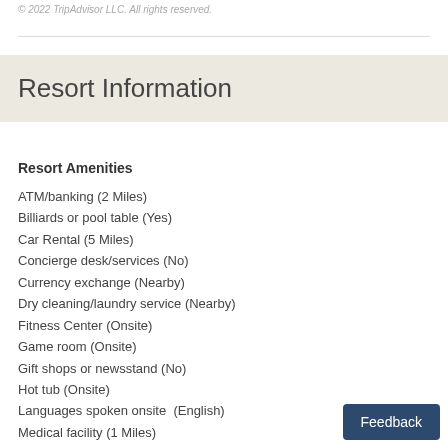© 2022 TripAdvisor LLC. All rights reserved.
Resort Information
Resort Amenities
ATM/banking (2 Miles)
Billiards or pool table (Yes)
Car Rental (5 Miles)
Concierge desk/services (No)
Currency exchange (Nearby)
Dry cleaning/laundry service (Nearby)
Fitness Center (Onsite)
Game room (Onsite)
Gift shops or newsstand (No)
Hot tub (Onsite)
Languages spoken onsite  (English)
Medical facility (1 Miles)